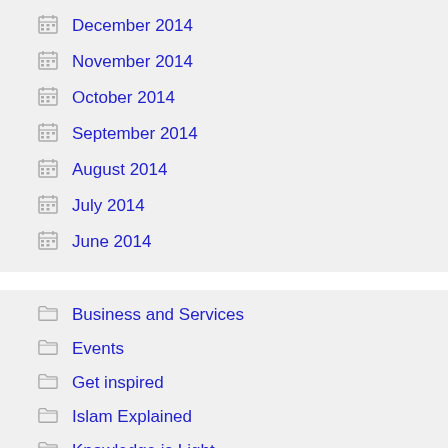December 2014
November 2014
October 2014
September 2014
August 2014
July 2014
June 2014
Business and Services
Events
Get inspired
Islam Explained
Knowledge is Light